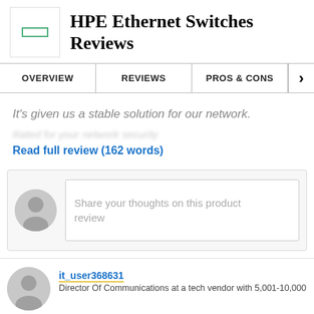HPE Ethernet Switches Reviews
OVERVIEW | REVIEWS | PROS & CONS
It's given us a stable solution for our network.
Read full review (162 words)
Share your thoughts on this product review
it_user368631
Director Of Communications at a tech vendor with 5,001-10,000